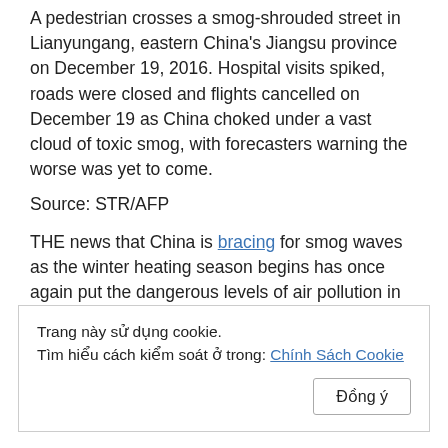A pedestrian crosses a smog-shrouded street in Lianyungang, eastern China's Jiangsu province on December 19, 2016. Hospital visits spiked, roads were closed and flights cancelled on December 19 as China choked under a vast cloud of toxic smog, with forecasters warning the worse was yet to come. Source: STR/AFP
THE news that China is bracing for smog waves as the winter heating season begins has once again put the dangerous levels of air pollution in Asia in the spotlight. With the air in Beijing and adjacent areas expected to become heavily polluted over the next week, China will be facing concern – yet again – over its
Trang này sử dụng cookie.
Tìm hiểu cách kiểm soát ở trong: Chính Sách Cookie